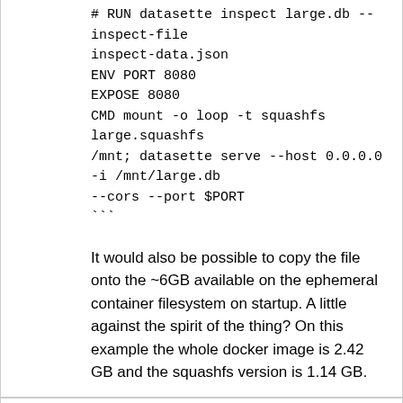# RUN datasette inspect large.db --inspect-file inspect-data.json
ENV PORT 8080
EXPOSE 8080
CMD mount -o loop -t squashfs large.squashfs /mnt; datasette serve --host 0.0.0.0 -i /mnt/large.db --cors --port $PORT
```
It would also be possible to copy the file onto the ~6GB available on the ephemeral container filesystem on startup. A little against the spirit of the thing? On this example the whole docker image is 2.42 GB and the squashfs version is 1.14 GB.
reactions
{"total_count": 0, "+1": 0, "-1": 0, "laugh": 0, "hooray": 0, "confused": 0, "heart": 0, "rocket": 0, "eyes": 0}
issue